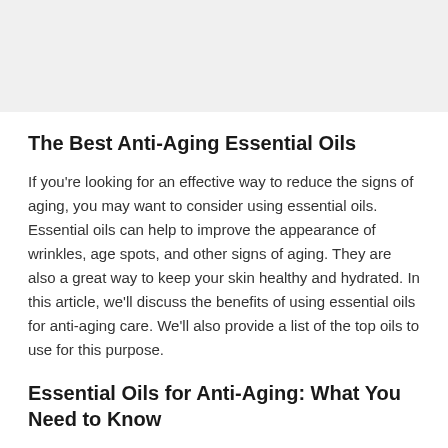[Figure (photo): Gray placeholder image area at the top of the page]
The Best Anti-Aging Essential Oils
If you're looking for an effective way to reduce the signs of aging, you may want to consider using essential oils. Essential oils can help to improve the appearance of wrinkles, age spots, and other signs of aging. They are also a great way to keep your skin healthy and hydrated. In this article, we'll discuss the benefits of using essential oils for anti-aging care. We'll also provide a list of the top oils to use for this purpose.
Essential Oils for Anti-Aging: What You Need to Know